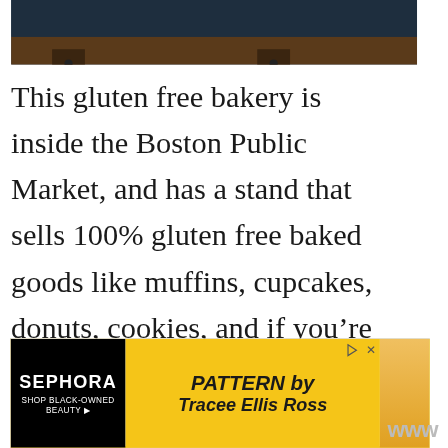[Figure (photo): Top portion of a photo showing what appears to be a dark interior scene with equipment on a wooden floor]
This gluten free bakery is inside the Boston Public Market, and has a stand that sells 100% gluten free baked goods like muffins, cupcakes, donuts, cookies, and if you’re lucky, cannoli. They also happen to be free of all of the top 9 allergens (egg, dairy, peanuts, etc.) which makes them perfect for anyone with multiple intolerances.
They’re also at a wide range of local farmers m...
[Figure (screenshot): Advertisement banner for Sephora and PATTERN by Tracee Ellis Ross]